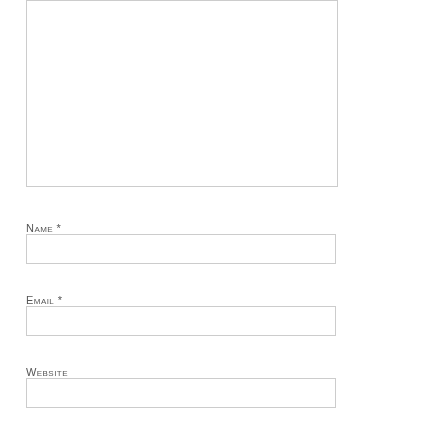[Figure (other): A large empty text area / comment input box with a thin light gray border]
Name *
[Figure (other): Empty text input field for Name]
Email *
[Figure (other): Empty text input field for Email]
Website
[Figure (other): Empty text input field for Website]